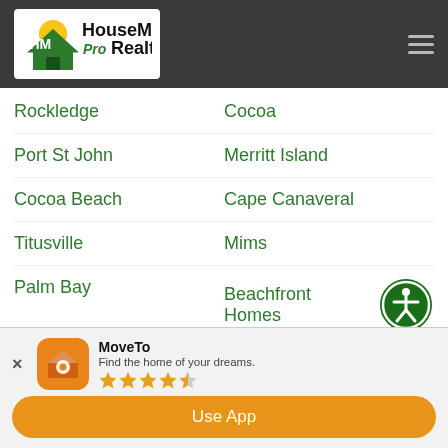[Figure (logo): HouseMax Pro Realty logo with sun and house icon]
Rockledge
Cocoa
Port St John
Merritt Island
Cocoa Beach
Cape Canaveral
Titusville
Mims
Palm Bay
Beachfront Homes
Satellite Beach
Indian Harbour Beach
Indialantic
Sebastian
MoveTo
Find the home of your dreams.
Use App